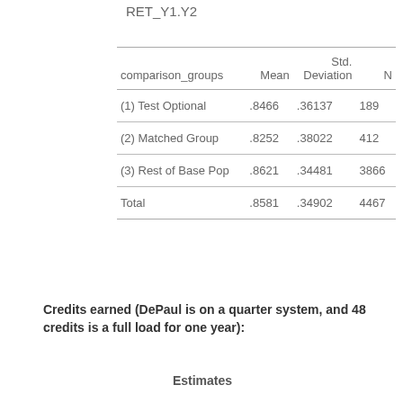RET_Y1.Y2
| comparison_groups | Mean | Std. Deviation | N |
| --- | --- | --- | --- |
| (1) Test Optional | .8466 | .36137 | 189 |
| (2) Matched Group | .8252 | .38022 | 412 |
| (3) Rest of Base Pop | .8621 | .34481 | 3866 |
| Total | .8581 | .34902 | 4467 |
Credits earned (DePaul is on a quarter system, and 48 credits is a full load for one year):
Estimates